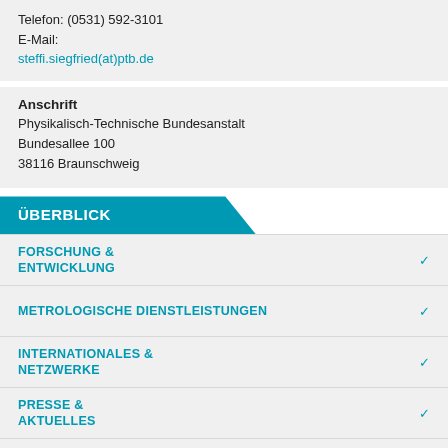Steffi Siegfried
Telefon: (0531) 592-3101
E-Mail:
steffi.siegfried(at)ptb.de
Anschrift
Physikalisch-Technische Bundesanstalt
Bundesallee 100
38116 Braunschweig
ÜBERBLICK
FORSCHUNG & ENTWICKLUNG
METROLOGISCHE DIENSTLEISTUNGEN
INTERNATIONALES & NETZWERKE
PRESSE & AKTUELLES
ÜBER UNS & KARRIERE
STRUKTUR & ABTEILUNGEN